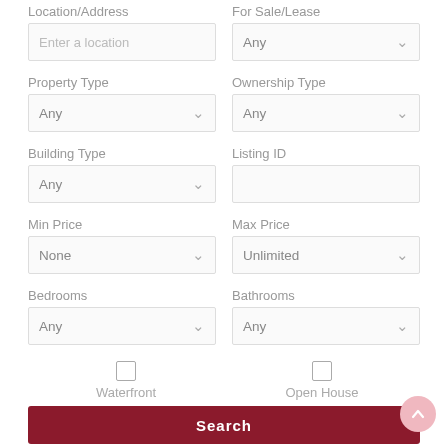Location/Address
For Sale/Lease
Enter a location
Any
Property Type
Ownership Type
Any
Any
Building Type
Listing ID
Any
Min Price
Max Price
None
Unlimited
Bedrooms
Bathrooms
Any
Any
Waterfront
Open House
Search